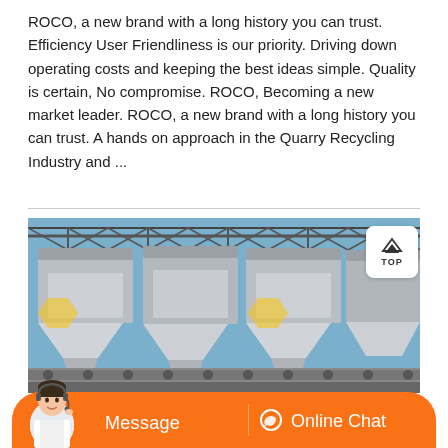ROCO, a new brand with a long history you can trust. Efficiency User Friendliness is our priority. Driving down operating costs and keeping the best ideas simple. Quality is certain, No compromise. ROCO, Becoming a new market leader. ROCO, a new brand with a long history you can trust. A hands on approach in the Quarry Recycling Industry and ...
[Figure (photo): Industrial machinery — multiple large vibratory screens or aggregate processing units arranged under a steel roof structure, photographed from ground level against a blue sky.]
[Figure (other): Orange chat bar at bottom with customer service agent avatar on the left, 'Message' button on the left half, and 'Online Chat' button with headset icon on the right half.]